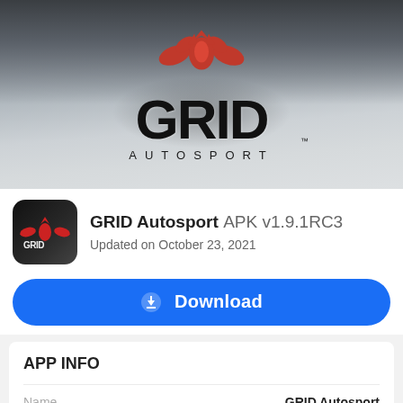[Figure (illustration): GRID Autosport hero banner showing racing cars from behind with GRID AUTOSPORT logo and red phoenix emblem in center]
GRID Autosport APK v1.9.1RC3
Updated on October 23, 2021
Download
APP INFO
Name   GRID Autosport